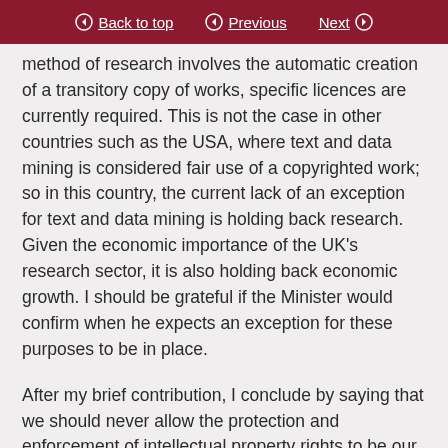Back to top  Previous  Next
method of research involves the automatic creation of a transitory copy of works, specific licences are currently required. This is not the case in other countries such as the USA, where text and data mining is considered fair use of a copyrighted work; so in this country, the current lack of an exception for text and data mining is holding back research. Given the economic importance of the UK’s research sector, it is also holding back economic growth. I should be grateful if the Minister would confirm when he expects an exception for these purposes to be in place.
After my brief contribution, I conclude by saying that we should never allow the protection and enforcement of intellectual property rights to be our...